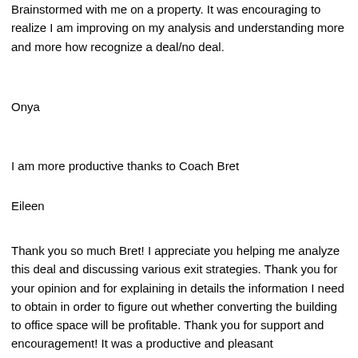Brainstormed with me on a property. It was encouraging to realize I am improving on my analysis and understanding more and more how recognize a deal/no deal.
Onya
I am more productive thanks to Coach Bret
Eileen
Thank you so much Bret! I appreciate you helping me analyze this deal and discussing various exit strategies. Thank you for your opinion and for explaining in details the information I need to obtain in order to figure out whether converting the building to office space will be profitable. Thank you for support and encouragement! It was a productive and pleasant